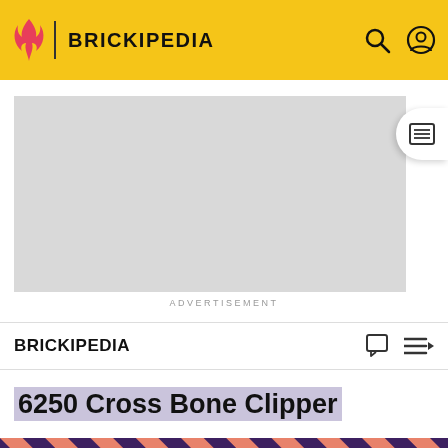BRICKIPEDIA
[Figure (screenshot): Advertisement placeholder — grey rectangle with ADVERTISEMENT label below]
BRICKIPEDIA
6250 Cross Bone Clipper
[Figure (illustration): Diagonal red and dark purple stripes background with a cartoon skull monster character with red eyes and horns]